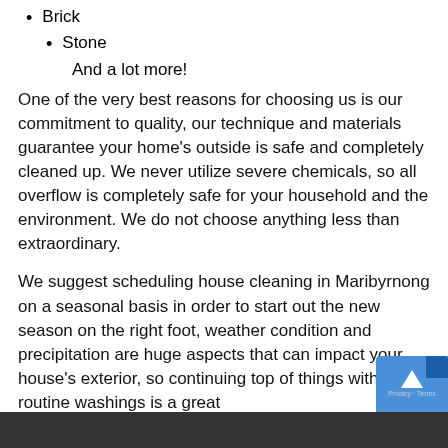Brick
Stone
And a lot more!
One of the very best reasons for choosing us is our commitment to quality, our technique and materials guarantee your home's outside is safe and completely cleaned up. We never utilize severe chemicals, so all overflow is completely safe for your household and the environment. We do not choose anything less than extraordinary.
We suggest scheduling house cleaning in Maribyrnong on a seasonal basis in order to start out the new season on the right foot, weather condition and precipitation are huge aspects that can impact your house's exterior, so continuing top of things with routine washings is a great